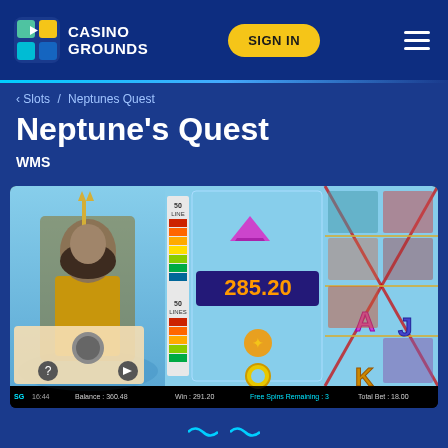CASINO GROUNDS | SIGN IN
< Slots / Neptunes Quest
Neptune's Quest
WMS
[Figure (screenshot): Neptune's Quest slot game screenshot showing the game reels with a win of 285.20, featuring Neptune god character on the left, colorful slot reels with marine symbols, and a status bar showing Balance: 360.48, Win: 291.20, Free Spins Remaining: 3, Total Bet: 18.00]